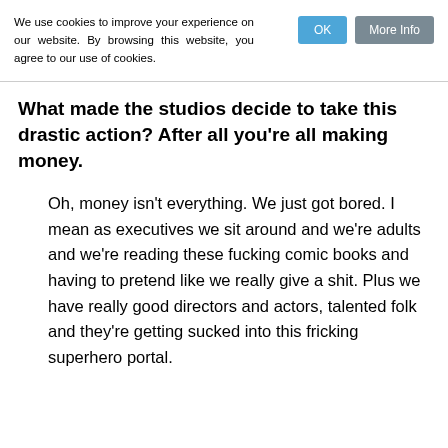We use cookies to improve your experience on our website. By browsing this website, you agree to our use of cookies.
What made the studios decide to take this drastic action? After all you're all making money.
Oh, money isn't everything. We just got bored. I mean as executives we sit around and we're adults and we're reading these fucking comic books and having to pretend like we really give a shit. Plus we have really good directors and actors, talented folk and they're getting sucked into this fricking superhero portal.